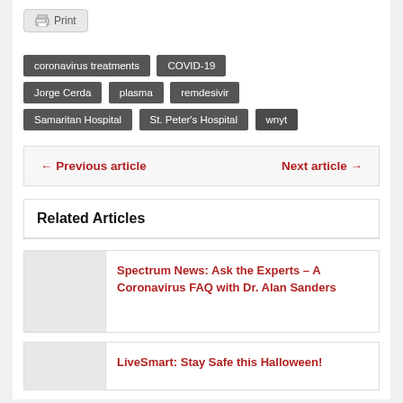[Figure (other): Print button with printer icon]
coronavirus treatments
COVID-19
Jorge Cerda
plasma
remdesivir
Samaritan Hospital
St. Peter's Hospital
wnyt
← Previous article   Next article →
Related Articles
Spectrum News: Ask the Experts – A Coronavirus FAQ with Dr. Alan Sanders
LiveSmart: Stay Safe this Halloween!